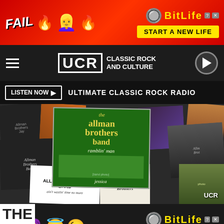[Figure (screenshot): BitLife advertisement banner: red background, 'FAIL' text, girl cartoon, flames emoji, BitLife logo in yellow, 'START A NEW LIFE' yellow button, close button]
[Figure (logo): UCR Classic Rock and Culture navigation bar with hamburger menu, UCR logo, and play button]
LISTEN NOW ▶  ULTIMATE CLASSIC ROCK RADIO
[Figure (photo): Collage of Allman Brothers Band album covers including Ramblin' Man single, self-titled album, and others in black-and-white and color]
[Figure (screenshot): BitLife advertisement banner: dark background, devil/angel/wink emojis, BitLife logo in yellow, 'REAL CHOICES' yellow button]
THE